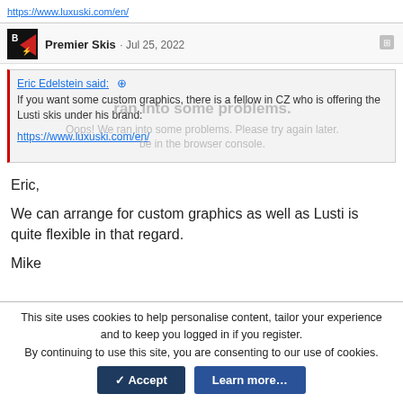https://www.luxuski.com/en/
Premier Skis · Jul 25, 2022
Eric Edelstein said:
If you want some custom graphics, there is a fellow in CZ who is offering the Lusti skis under his brand:
https://www.luxuski.com/en/
Eric,

We can arrange for custom graphics as well as Lusti is quite flexible in that regard.

Mike
This site uses cookies to help personalise content, tailor your experience and to keep you logged in if you register.
By continuing to use this site, you are consenting to our use of cookies.